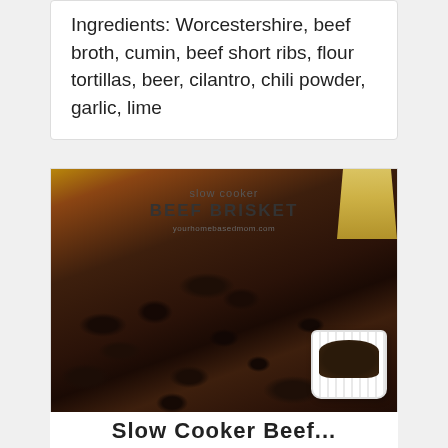Ingredients: Worcestershire, beef broth, cumin, beef short ribs, flour tortillas, beer, cilantro, chili powder, garlic, lime
[Figure (photo): Close-up photo of slow cooker beef brisket, dark braised meat in foreground with a white ribbed ramekin containing dark sauce on the right, a yellow side dish visible top right. Overlay text reads 'slow cooker BEEF BRISKET yourhomebasedmom.com']
Slow Cooker Beef Brisket